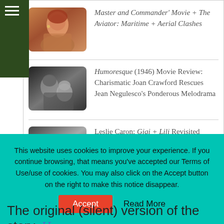[Figure (screenshot): Hamburger menu icon (three white lines) on dark green background]
[Figure (photo): Color photo of a woman with red hair (warm tones)]
Master and Commander' Movie + The Aviator: Maritime + Aerial Clashes
[Figure (photo): Black and white photo of two people in an embrace]
Humoresque (1946) Movie Review: Charismatic Joan Crawford Rescues Jean Negulesco's Ponderous Melodrama
[Figure (photo): Black and white photo of a woman reclining]
Leslie Caron: Gigi + Lili Revisited
The original (silent) version of the story, Her
This website uses cookies to improve your experience. If you continue browsing, that means you've accepted our Terms of Use/use of cookies. You may also click on the Accept button on the right to make this notice disappear.